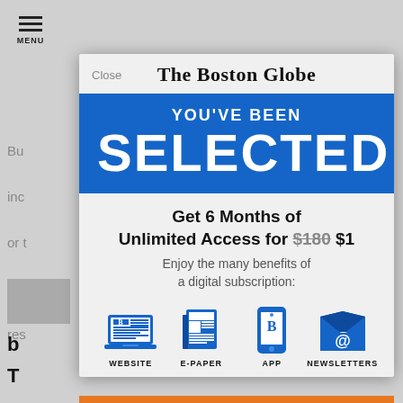[Figure (screenshot): Boston Globe subscription modal overlay on top of a news article page. Modal shows 'YOU'VE BEEN SELECTED' in a blue banner, offer text 'Get 6 Months of Unlimited Access for $180 $1', subtitle 'Enjoy the many benefits of a digital subscription:', and four blue icons for WEBSITE, E-PAPER, APP, NEWSLETTERS.]
The Boston Globe
YOU'VE BEEN
SELECTED
Get 6 Months of Unlimited Access for $180 $1
Enjoy the many benefits of a digital subscription:
WEBSITE
E-PAPER
APP
NEWSLETTERS